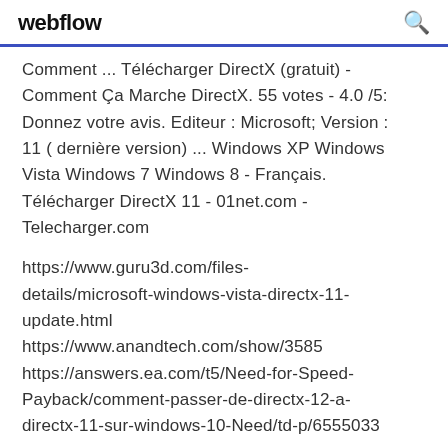webflow
Comment ... Télécharger DirectX (gratuit) - Comment Ça Marche DirectX. 55 votes - 4.0 /5: Donnez votre avis. Editeur : Microsoft; Version : 11 ( dernière version) ... Windows XP Windows Vista Windows 7 Windows 8 - Français. Télécharger DirectX 11 - 01net.com - Telecharger.com
https://www.guru3d.com/files-details/microsoft-windows-vista-directx-11-update.html https://www.anandtech.com/show/3585 https://answers.ea.com/t5/Need-for-Speed-Payback/comment-passer-de-directx-12-a-directx-11-sur-windows-10-Need/td-p/6555033